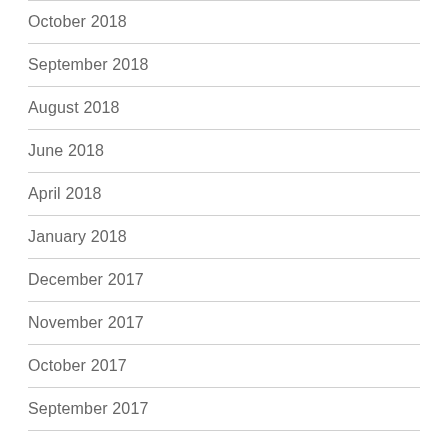October 2018
September 2018
August 2018
June 2018
April 2018
January 2018
December 2017
November 2017
October 2017
September 2017